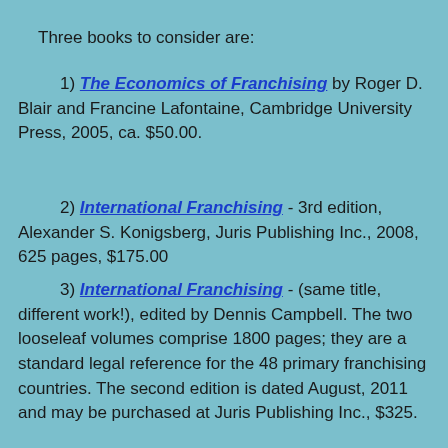Three books to consider are:
1) The Economics of Franchising by Roger D. Blair and Francine Lafontaine, Cambridge University Press, 2005, ca. $50.00.
2) International Franchising - 3rd edition, Alexander S. Konigsberg, Juris Publishing Inc., 2008, 625 pages, $175.00
3) International Franchising - (same title, different work!), edited by Dennis Campbell. The two looseleaf volumes comprise 1800 pages; they are a standard legal reference for the 48 primary franchising countries. The second edition is dated August, 2011 and may be purchased at Juris Publishing Inc., $325.